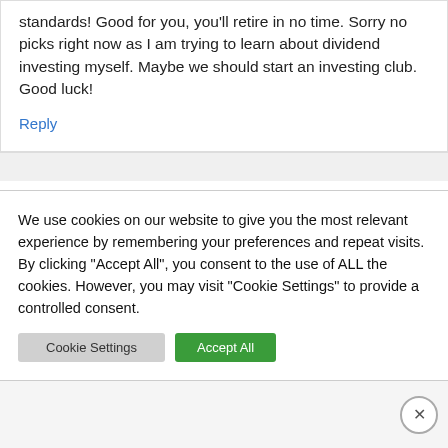standards! Good for you, you'll retire in no time. Sorry no picks right now as I am trying to learn about dividend investing myself. Maybe we should start an investing club. Good luck!
Reply
Freddie @ Invest With Passion
We use cookies on our website to give you the most relevant experience by remembering your preferences and repeat visits. By clicking "Accept All", you consent to the use of ALL the cookies. However, you may visit "Cookie Settings" to provide a controlled consent.